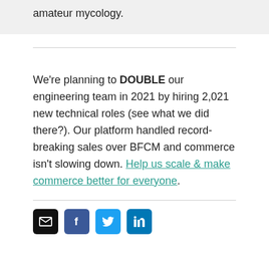amateur mycology.
We're planning to DOUBLE our engineering team in 2021 by hiring 2,021 new technical roles (see what we did there?). Our platform handled record-breaking sales over BFCM and commerce isn't slowing down. Help us scale & make commerce better for everyone.
[Figure (infographic): Row of four social media icon buttons: email (black), Facebook (blue), Twitter (light blue), LinkedIn (blue)]